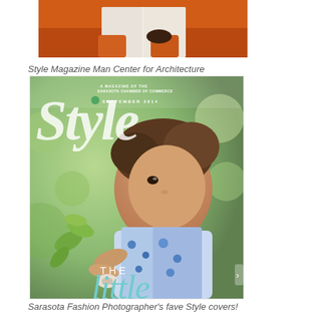[Figure (photo): Partial photo of a man in white clothing sitting on or near an orange surface, cropped at upper portion]
Style Magazine Man Center for Architecture
[Figure (photo): Cover of Style magazine (September 2014) featuring a young girl in a blue and white floral dress holding something small, with large 'Style' title text and 'THE little' text overlay on a green bokeh background]
Sarasota Fashion Photographer's fave Style covers!